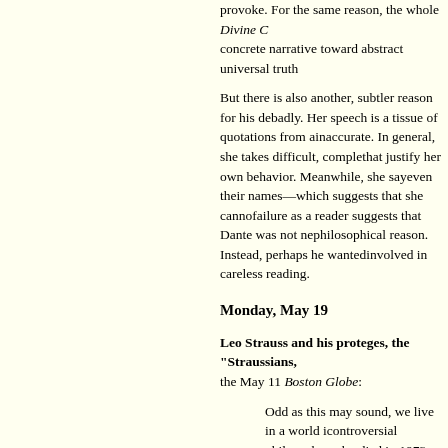provoke. For the same reason, the whole Divine C... concrete narrative toward abstract universal truth...
But there is also another, subtler reason for his de... badly. Her speech is a tissue of quotations from a... inaccurate. In general, she takes difficult, complex... that justify her own behavior. Meanwhile, she say... even their names—which suggests that she canno... failure as a reader suggests that Dante was not nee... philosophical reason. Instead, perhaps he wanted ... involved in careless reading.
Monday, May 19
Leo Strauss and his proteges, the "Straussians,... the May 11 Boston Globe:
Odd as this may sound, we live in a world i... controversial philosopher who died in 1973... wider population, Strauss has been one of th... intellectual influences on the conservative w... Bush's Washington. Eager to get the lowdo... the New York Times and Le Monde have ha... and trace his disciples' affiliations. The New... Straussians doing intelligence work for the